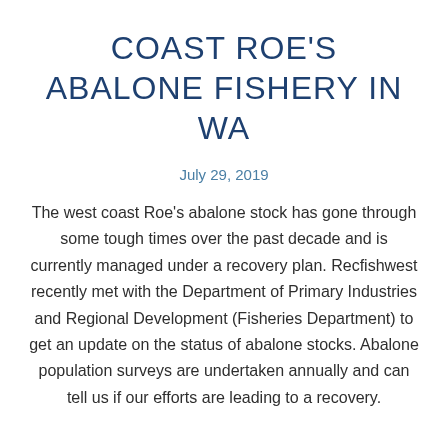COAST ROE'S ABALONE FISHERY IN WA
July 29, 2019
The west coast Roe's abalone stock has gone through some tough times over the past decade and is currently managed under a recovery plan. Recfishwest recently met with the Department of Primary Industries and Regional Development (Fisheries Department) to get an update on the status of abalone stocks. Abalone population surveys are undertaken annually and can tell us if our efforts are leading to a recovery.